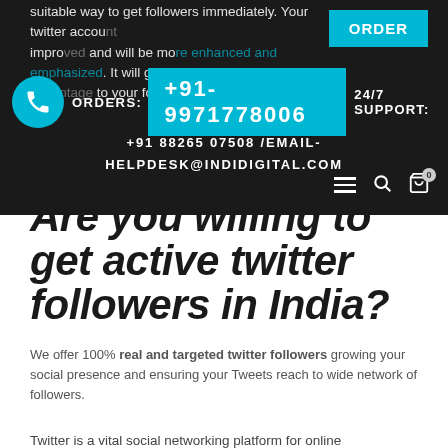suitable way to get followers immediately. Your twitter account improved and will be more enhanced and emphasized. It will give an advantage to your followers.
ORDERS: +91-9971778006 | 24/7 SUPPORT: +91 88265 07508 /EMAIL- HELPDESK@INDIDIGITAL.COM
Are you willing to get active twitter followers in India?
We offer 100% real and targeted twitter followers growing your social presence and ensuring your Tweets reach to wide network of followers. When you buy twitter followers from us, we offer 100% satisfaction assurance. Indidigital is among the top service providers offering such services from the last four years.
The importance of  Twitter followers
Twitter is a vital social networking platform for online communication and